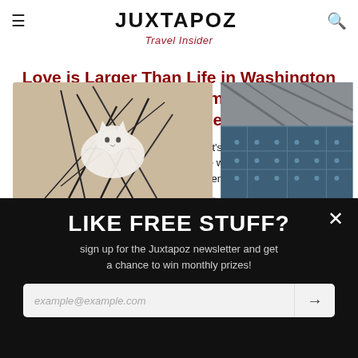JUXTAPOZ | Travel Insider
Love is Larger Than Life in Washington DC: A City Guide from Lisa Marie Thalhammer
“It’s about love. It’s about freedom. It’s about vibrant color representing diversity. It’s about the subtle ways humans interact with public art and how it changes the energetic vibrations
October 14, 2020
[Figure (photo): Left: artwork showing white cat among dark plant fronds; Right: partial view of blue/grey geometric artwork]
LIKE FREE STUFF?
sign up for the Juxtapoz newsletter and get a chance to win monthly prizes!
example@example.com